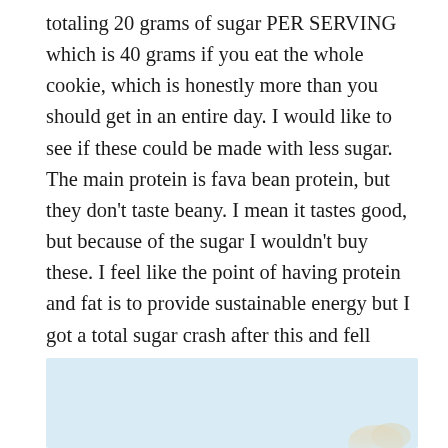totaling 20 grams of sugar PER SERVING which is 40 grams if you eat the whole cookie, which is honestly more than you should get in an entire day. I would like to see if these could be made with less sugar. The main protein is fava bean protein, but they don't taste beany. I mean it tastes good, but because of the sugar I wouldn't buy these. I feel like the point of having protein and fat is to provide sustainable energy but I got a total sugar crash after this and fell asleep.
[Figure (photo): Light blue background photo, partially visible, appears to show a food item at the bottom right corner]